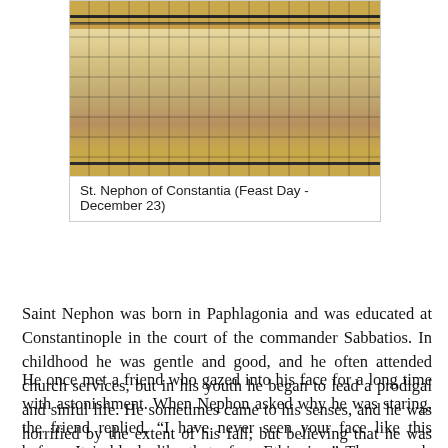[Figure (photo): Icon of St. Nephon of Constantia, showing a religious figure in Byzantine style with gold frame and checkered pattern vestments.]
St. Nephon of Constantia (Feast Day - December 23)
Saint Nephon was born in Paphlagonia and was educated at Constantinople in the court of the commander Sabbatios. In childhood he was gentle and good, and he often attended church services, but in his youth he began to lead a prodigal and sinful life. He sometimes came to his senses, and he was horrified by the extent of his fall; but believing that he was lost and could not receive forgiveness, he despairingly resumed his impious life.
He once met a friend who gazed into his face for a long time with astonishment. When Nephon asked why he was staring, the friend replied, “I have never seen your face like this before. It is black, like that of an Ethiopian.” These words showed to Nephon his fallen state, and he began to cry out to the Mother of God, begging Her intercession.